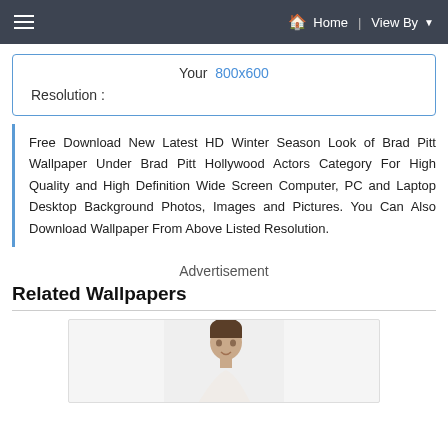≡   🏠 Home  View By ▼
Your  800x600
Resolution :
Free Download New Latest HD Winter Season Look of Brad Pitt Wallpaper Under Brad Pitt Hollywood Actors Category For High Quality and High Definition Wide Screen Computer, PC and Laptop Desktop Background Photos, Images and Pictures. You Can Also Download Wallpaper From Above Listed Resolution.
Advertisement
Related Wallpapers
[Figure (photo): Thumbnail photo of a person (Brad Pitt), partially visible, showing head and upper body]